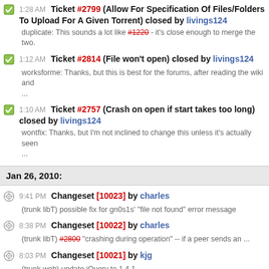1:28 AM Ticket #2799 (Allow For Specification Of Files/Folders To Upload For A Given Torrent) closed by livings124
duplicate: This sounds a lot like #1220 - it's close enough to merge the two.
1:12 AM Ticket #2814 (File won't open) closed by livings124
worksforme: Thanks, but this is best for the forums, after reading the wiki and ...
1:10 AM Ticket #2757 (Crash on open if start takes too long) closed by livings124
wontfix: Thanks, but I'm not inclined to change this unless it's actually seen ...
Jan 26, 2010:
9:41 PM Changeset [10023] by charles
(trunk libT) possible fix for gn0s1s' "file not found" error message
8:38 PM Changeset [10022] by charles
(trunk libT) #2800 "crashing during operation" -- if a peer sends an ...
8:03 PM Changeset [10021] by kjg
(trunk web) update jQuery to 1.4.1
7:54 PM Ticket #2792 (in [1.80...1.82] all peer traffic stops & starts at regular intervals) closed by charles
fixed: [=> http://forum.transmissionbt.com/viewtopic.php?p=44122&sid=6daba836886a